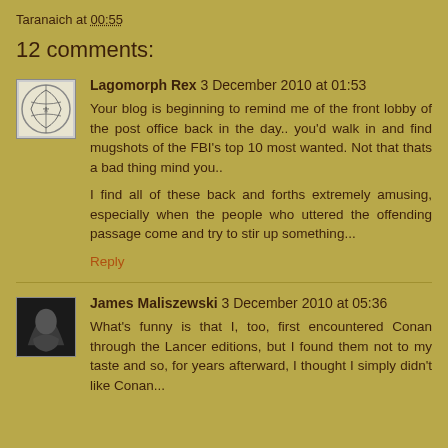Taranaich at 00:55
12 comments:
Lagomorph Rex 3 December 2010 at 01:53
Your blog is beginning to remind me of the front lobby of the post office back in the day.. you'd walk in and find mugshots of the FBI's top 10 most wanted. Not that thats a bad thing mind you..
I find all of these back and forths extremely amusing, especially when the people who uttered the offending passage come and try to stir up something...
Reply
James Maliszewski 3 December 2010 at 05:36
What's funny is that I, too, first encountered Conan through the Lancer editions, but I found them not to my taste and so, for years afterward, I thought I simply didn't like Conan...